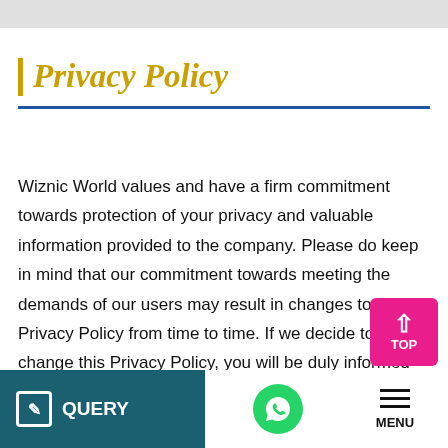Privacy Policy
Wiznic World values and have a firm commitment towards protection of your privacy and valuable information provided to the company. Please do keep in mind that our commitment towards meeting the demands of our users may result in changes to this Privacy Policy from time to time. If we decide to change this Privacy Policy, you will be duly informed by the post with changes on this page.
By using the Wiznic World's website and accepting the User
QUERY | MENU